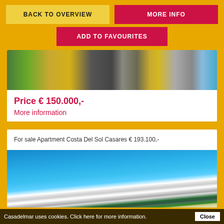BACK TO OVERVIEW
MORE INFO
ADD TO FAVOURITES
[Figure (photo): Collage of outdoor/architectural photos including greenery, a circular structure, and a pool area]
Price € 150.000,-
More information
For sale Apartment Costa Del Sol Casares € 193.100,-
[Figure (photo): Modern white apartment building with blue sky and palm trees]
Casadelmar uses cookies. Click here for more information.
Close